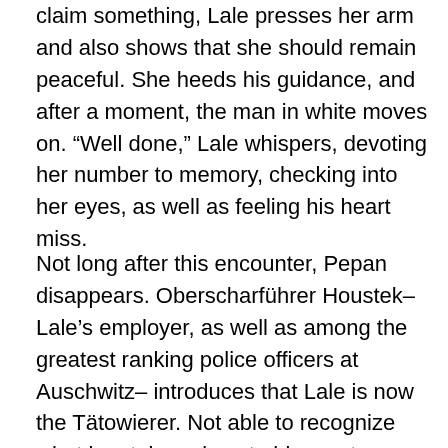claim something, Lale presses her arm and also shows that she should remain peaceful. She heeds his guidance, and after a moment, the man in white moves on. “Well done,” Lale whispers, devoting her number to memory, checking into her eyes, as well as feeling his heart miss.
Not long after this encounter, Pepan disappears. Oberscharführer Houstek– Lale’s employer, as well as among the greatest ranking police officers at Auschwitz– introduces that Lale is now the Tätowierer. Not able to recognize what has taken place to his mentor, Lale approves this as finest he can as well as asks for an aide to aid him. Subsequently, Baretski, the policeman appointed to oversee Lale, grabs a man called Leon and forces him to be the assistant tattooist. That night, Lale discovers that he currently has his own room